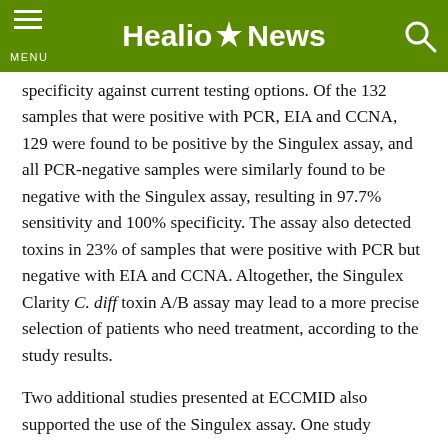MENU  Healio News
specificity against current testing options. Of the 132 samples that were positive with PCR, EIA and CCNA, 129 were found to be positive by the Singulex assay, and all PCR-negative samples were similarly found to be negative with the Singulex assay, resulting in 97.7% sensitivity and 100% specificity. The assay also detected toxins in 23% of samples that were positive with PCR but negative with EIA and CCNA. Altogether, the Singulex Clarity C. diff toxin A/B assay may lead to a more precise selection of patients who need treatment, according to the study results.
Two additional studies presented at ECCMID also supported the use of the Singulex assay. One study